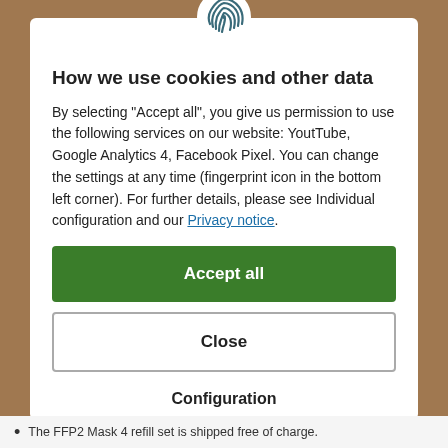[Figure (logo): Fingerprint icon in teal/dark teal color at top center of modal]
How we use cookies and other data
By selecting "Accept all", you give us permission to use the following services on our website: YoutTube, Google Analytics 4, Facebook Pixel. You can change the settings at any time (fingerprint icon in the bottom left corner). For further details, please see Individual configuration and our Privacy notice.
Accept all
Close
Configuration
The FFP2 Mask 4 refill set is shipped free of charge.